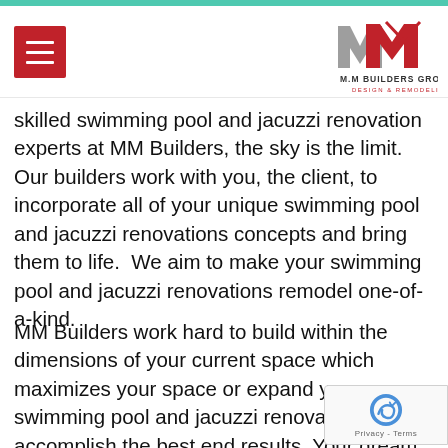[Figure (logo): MM Builders Group Design & Remodeling logo — red and grey stylized MM letters with a roof shape, with text 'M.M BUILDERS GROUP DESIGN & REMODELING' below]
skilled swimming pool and jacuzzi renovation experts at MM Builders, the sky is the limit. Our builders work with you, the client, to incorporate all of your unique swimming pool and jacuzzi renovations concepts and bring them to life.  We aim to make your swimming pool and jacuzzi renovations remodel one-of-a-kind.
MM Builders work hard to build within the dimensions of your current space which maximizes your space or expand your swimming pool and jacuzzi renovati... accomplish the best end results. Your dream swi... pool and jacuzzi renovations is literally a phone call